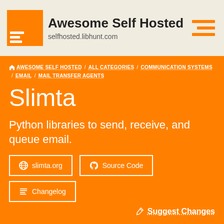Awesome Self Hosted — selfhosted.libhunt.com
AWESOME SELF HOSTED / ALL CATEGORIES / COMMUNICATION SYSTEMS / EMAIL / MAIL TRANSFER AGENTS
Slimta
Python libraries to send, receive, and queue email.
slimta.org | Source Code | Changelog
Suggest Changes